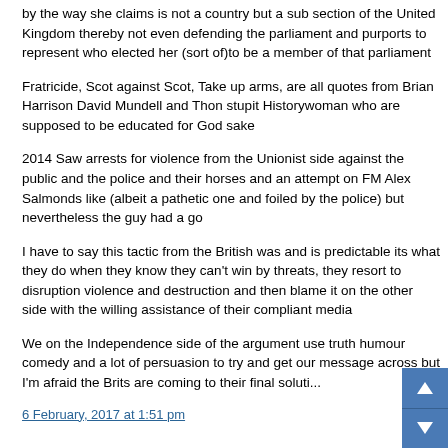by the way she claims is not a country but a sub section of the United Kingdom thereby not even defending the parliament and the people she purports to represent who elected her (sort of)to be a member of that parliament
Fratricide, Scot against Scot, Take up arms, are all quotes from Brian Harrison David Mundell and Thon stupit Historywoman who are supposed to be educated for God sake
2014 Saw arrests for violence from the Unionist side against the public and the police and their horses and an attempt on the life of FM Alex Salmonds like (albeit a pathetic one and foiled by the police) but nevertheless the guy had a go
I have to say this tactic from the British was and is predictable its what they do when they know they can't win by threats, they resort to disruption violence and destruction and then blame it on the other side with the willing assistance of their compliant media
We on the Independence side of the argument use truth humour comedy and a lot of persuasion to try and get our message across but I'm afraid the Brits are coming to their final solu...
6 February, 2017 at 1:51 pm